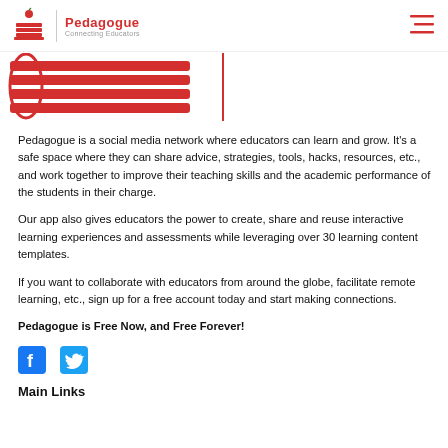Pedagogue — Connecting Educators
[Figure (logo): Pedagogue logo with red apple and stacked books icon, brand name and tagline, plus large red stylized book/lines image below header]
Pedagogue is a social media network where educators can learn and grow. It's a safe space where they can share advice, strategies, tools, hacks, resources, etc., and work together to improve their teaching skills and the academic performance of the students in their charge.
Our app also gives educators the power to create, share and reuse interactive learning experiences and assessments while leveraging over 30 learning content templates.
If you want to collaborate with educators from around the globe, facilitate remote learning, etc., sign up for a free account today and start making connections.
Pedagogue is Free Now, and Free Forever!
[Figure (logo): Facebook and Twitter social media icons]
Main Links